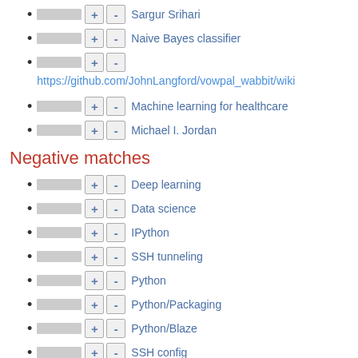Sargur Srihari
Naive Bayes classifier
https://github.com/JohnLangford/vowpal_wabbit/wiki
Machine learning for healthcare
Michael I. Jordan
Negative matches
Deep learning
Data science
IPython
SSH tunneling
Python
Python/Packaging
Python/Blaze
SSH config
Beautiful soup (Python)